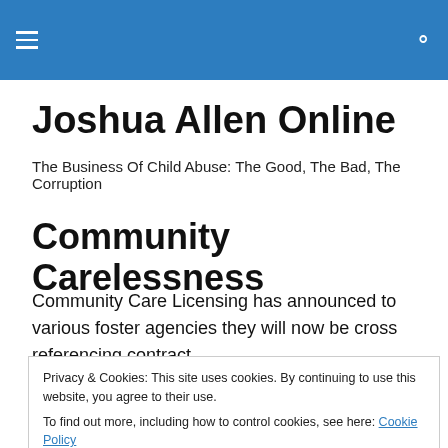Joshua Allen Online — site navigation header with hamburger menu and search icon
Joshua Allen Online
The Business Of Child Abuse: The Good, The Bad, The Corruption
Community Carelessness
Community Care Licensing has announced to various foster agencies they will now be cross referencing contract
Privacy & Cookies: This site uses cookies. By continuing to use this website, you agree to their use.
To find out more, including how to control cookies, see here: Cookie Policy
Close and accept
pencil and ledger.  And while the intent is to insure that a